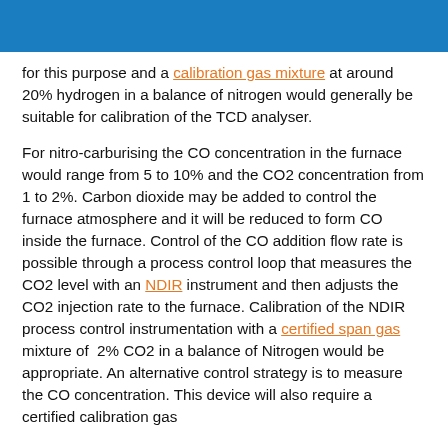for this purpose and a calibration gas mixture at around 20% hydrogen in a balance of nitrogen would generally be suitable for calibration of the TCD analyser.
For nitro-carburising the CO concentration in the furnace would range from 5 to 10% and the CO2 concentration from 1 to 2%. Carbon dioxide may be added to control the furnace atmosphere and it will be reduced to form CO inside the furnace. Control of the CO addition flow rate is possible through a process control loop that measures the CO2 level with an NDIR instrument and then adjusts the CO2 injection rate to the furnace. Calibration of the NDIR process control instrumentation with a certified span gas mixture of 2% CO2 in a balance of Nitrogen would be appropriate. An alternative control strategy is to measure the CO concentration. This device will also require a certified calibration gas